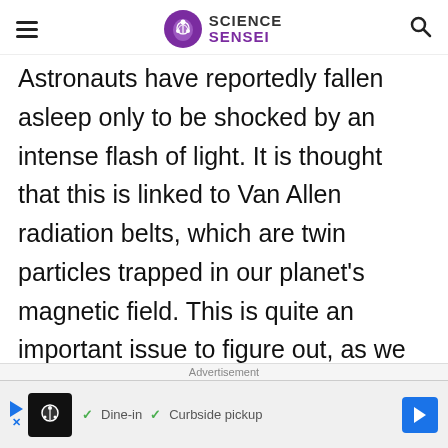Science Sensei
Astronauts have reportedly fallen asleep only to be shocked by an intense flash of light. It is thought that this is linked to Van Allen radiation belts, which are twin particles trapped in our planet’s magnetic field. This is quite an important issue to figure out, as we know that our magnetic field is not perfectly aligned to the Earth’s rotation
Advertisement
[Figure (other): Advertisement banner for a restaurant showing a logo, checkmarks for Dine-in and Curbside pickup options, and a navigation arrow icon]